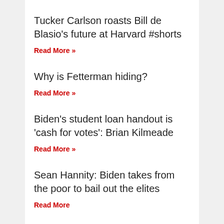Tucker Carlson roasts Bill de Blasio's future at Harvard #shorts
Read More »
Why is Fetterman hiding?
Read More »
Biden's student loan handout is 'cash for votes': Brian Kilmeade
Read More »
Sean Hannity: Biden takes from the poor to bail out the elites
Read More »